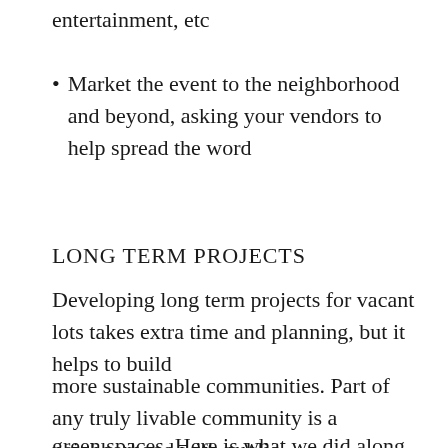entertainment, etc
Market the event to the neighborhood and beyond, asking your vendors to help spread the word
LONG TERM PROJECTS
Developing long term projects for vacant lots takes extra time and planning, but it helps to build
more sustainable communities. Part of any truly livable community is a neighborhood with public
green spaces. Here is what we did along St.